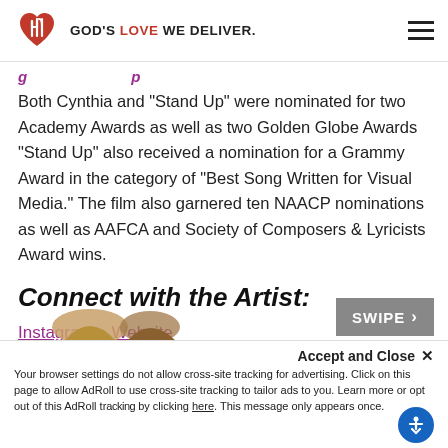GOD'S LOVE WE DELIVER.
Both Cynthia and “Stand Up” were nominated for two Academy Awards as well as two Golden Globe Awards “Stand Up” also received a nomination for a Grammy Award in the category of “Best Song Written for Visual Media.” The film also garnered ten NAACP nominations as well as AAFCA and Society of Composers & Lyricists Award wins.
Connect with the Artist:
Instagram   Website
[Figure (photo): Partial image visible at bottom of page, appears to show feet or shoes]
Accept and Close ×
Your browser settings do not allow cross-site tracking for advertising. Click on this page to allow AdRoll to use cross-site tracking to tailor ads to you. Learn more or opt out of this AdRoll tracking by clicking here. This message only appears once.